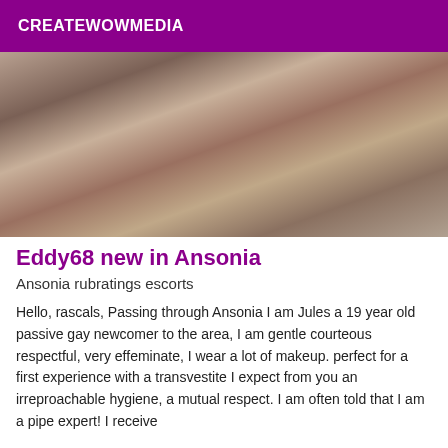CREATEWOWMEDIA
[Figure (photo): Close-up photo of a person lying on white bedding, partially cropped]
Eddy68 new in Ansonia
Ansonia rubratings escorts
Hello, rascals, Passing through Ansonia I am Jules a 19 year old passive gay newcomer to the area, I am gentle courteous respectful, very effeminate, I wear a lot of makeup. perfect for a first experience with a transvestite I expect from you an irreproachable hygiene, a mutual respect. I am often told that I am a pipe expert! I receive